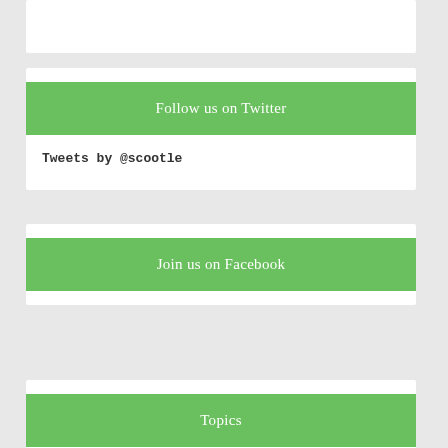Follow us on Twitter
Tweets by @scootle
Join us on Facebook
Topics